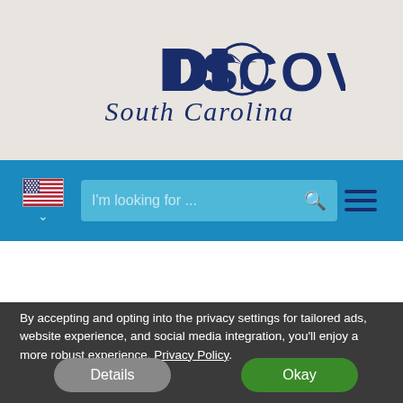[Figure (logo): Discover South Carolina logo with dark navy serif text and palmetto tree icon replacing the O in DISCOVER, with italic script South Carolina below]
[Figure (screenshot): Navigation bar with US flag dropdown, search input 'I'm looking for ...' with search icon, and hamburger menu icon on blue background]
By accepting and opting into the privacy settings for tailored ads, website experience, and social media integration, you'll enjoy a more robust experience. Privacy Policy
Details
Okay